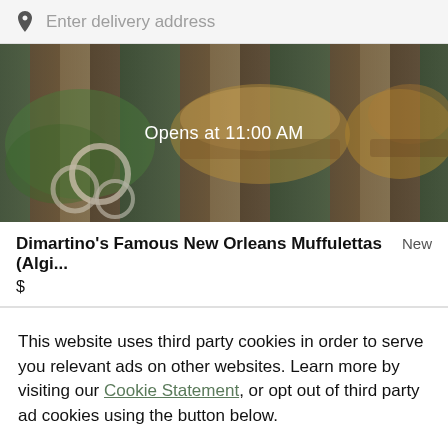Enter delivery address
[Figure (photo): Food photo showing sandwiches and salad with dark overlay, displaying 'Opens at 11:00 AM' text in center]
Dimartino's Famous New Orleans Muffulettas (Algi...
New
$
This website uses third party cookies in order to serve you relevant ads on other websites. Learn more by visiting our Cookie Statement, or opt out of third party ad cookies using the button below.
OPT OUT
GOT IT